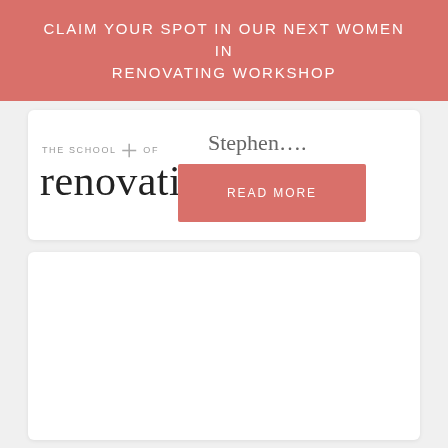CLAIM YOUR SPOT IN OUR NEXT WOMEN IN RENOVATING WORKSHOP
[Figure (logo): The School of Renovating logo with stylized cross and cursive 'renovating' text]
Stephen....
READ MORE